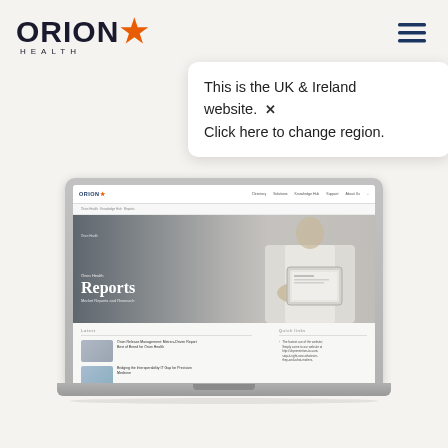[Figure (logo): Orion Health logo with orange star and text ORION* HEALTH]
[Figure (other): Hamburger menu icon (three horizontal dark blue lines)]
This is the UK & Ireland website. ×
Click here to change region.
[Figure (screenshot): Laptop displaying the Orion Health Reports website page, showing a hero image with a person holding a tablet, the Reports page heading, and article listings below]